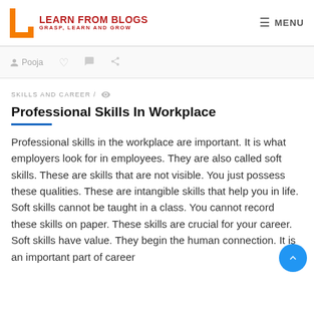LEARN FROM BLOGS — GRASP, LEARN AND GROW — MENU
Pooja
SKILLS AND CAREER /
Professional Skills In Workplace
Professional skills in the workplace are important. It is what employers look for in employees. They are also called soft skills. These are skills that are not visible. You just possess these qualities. These are intangible skills that help you in life. Soft skills cannot be taught in a class. You cannot record these skills on paper. These skills are crucial for your career. Soft skills have value. They begin the human connection. It is an important part of career